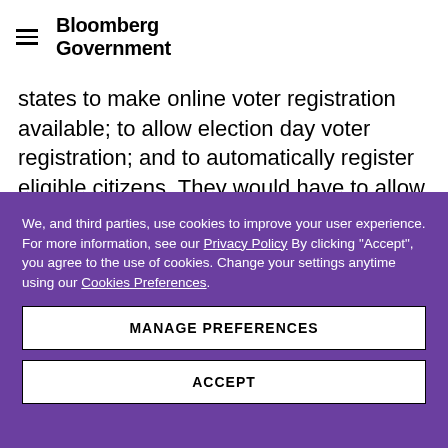Bloomberg Government
states to make online voter registration available; to allow election day voter registration; and to automatically register eligible citizens. They would have to allow voting by mail and voting by felons who've
We, and third parties, use cookies to improve your user experience. For more information, see our Privacy Policy By clicking "Accept", you agree to the use of cookies. Change your settings anytime using our Cookies Preferences.
MANAGE PREFERENCES
ACCEPT